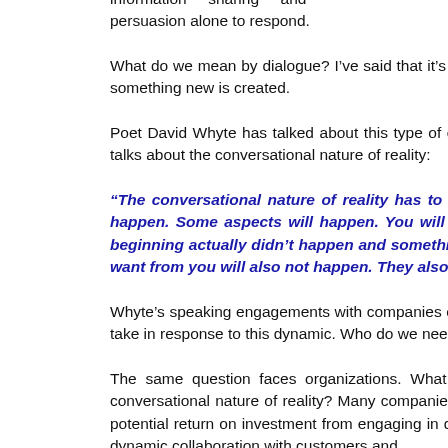information sharing and persuasion alone to respond.
What do we mean by dialogue? I’ve said that it’s the type of communication where two or more parties bring together information out of which something new is created.
Poet David Whyte has talked about this type of communication in terms of what it means to be a leader today. In a video on his website he talks about the conversational nature of reality:
“The conversational nature of reality has to do with the fact that what you want to happen will not happen. A *version* of it will happen. Some aspects will happen. You will be surprised also and quite often gladdened that what you wanted to happen in the beginning actually didn’t happen and something else did. Also it’s true that whatever society, or life or your partner or your children want from you will also not happen. They also will have to join the conversation.”
Whyte’s speaking engagements with companies on the conversational nature of reality have to do with what kind of leadership stance one can take in response to this dynamic. Who do we need to be as leaders to participate in the conversational nature of reality?
The same question faces organizations. What kind of stance do we need to take with our customers and partners in order to thrive in the conversational nature of reality? Many companies who have been early pioneers of collaboration and co-creation will say there’s tremendous potential return on investment from engaging in dialogue. Strategy– including communications, product innovation and more – is at its best in dynamic collaboration with customers and